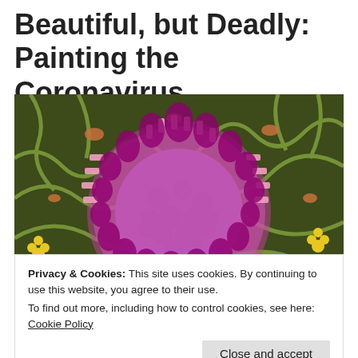Beautiful, but Deadly: Painting the Coronavirus
[Figure (illustration): Artistic illustration of a coronavirus particle shown from above, with a purple/lavender central body surrounded by magenta/pink spike proteins arranged in a ring, set against a background of green tendrils, yellow flowers, and orange/brown organic shapes.]
Privacy & Cookies: This site uses cookies. By continuing to use this website, you agree to their use.
To find out more, including how to control cookies, see here: Cookie Policy
Close and accept